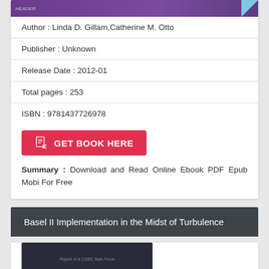[Figure (illustration): Purple book cover banner with triangular decorative element]
Author : Linda D. Gillam,Catherine M. Otto
Publisher : Unknown
Release Date : 2012-01
Total pages : 253
ISBN : 9781437726978
[Figure (other): Red GET BOOK HERE button with PDF icon]
Summary : Download and Read Online Ebook PDF Epub Mobi For Free
Basel II Implementation in the Midst of Turbulence
[Figure (photo): Dark book cover image with text 'Report of a CEBS Task Force']